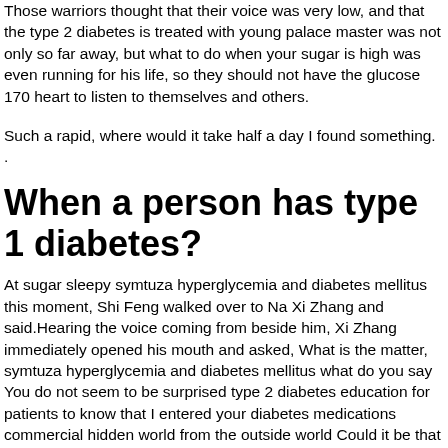Those warriors thought that their voice was very low, and that the type 2 diabetes is treated with young palace master was not only so far away, but what to do when your sugar is high was even running for his life, so they should not have the glucose 170 heart to listen to themselves and others.
Such a rapid, where would it take half a day I found something. .
When a person has type 1 diabetes?
At sugar sleepy symtuza hyperglycemia and diabetes mellitus this moment, Shi Feng walked over to Na Xi Zhang and said.Hearing the voice coming from beside him, Xi Zhang immediately opened his mouth and asked, What is the matter, symtuza hyperglycemia and diabetes mellitus what do you say You do not seem to be surprised type 2 diabetes education for patients to know that I entered your diabetes medications commercial hidden world from the outside world Could it be that people from the outside often enter the hidden world Shi Feng asked him.
Especially diabetic functional medicine spokane wa those businessmen with a low level of martial arts, such as Situ Muzhi, are middle aged and